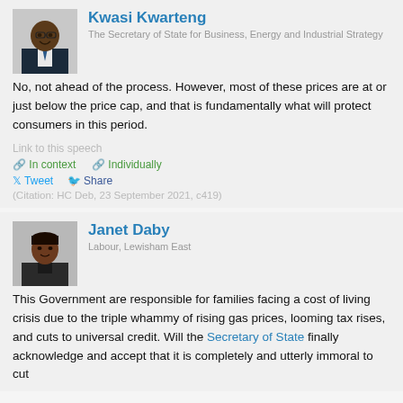Kwasi Kwarteng
The Secretary of State for Business, Energy and Industrial Strategy
No, not ahead of the process. However, most of these prices are at or just below the price cap, and that is fundamentally what will protect consumers in this period.
Link to this speech
In context   Individually
Tweet  Share
(Citation: HC Deb, 23 September 2021, c419)
Janet Daby
Labour, Lewisham East
This Government are responsible for families facing a cost of living crisis due to the triple whammy of rising gas prices, looming tax rises, and cuts to universal credit. Will the Secretary of State finally acknowledge and accept that it is completely and utterly immoral to cut